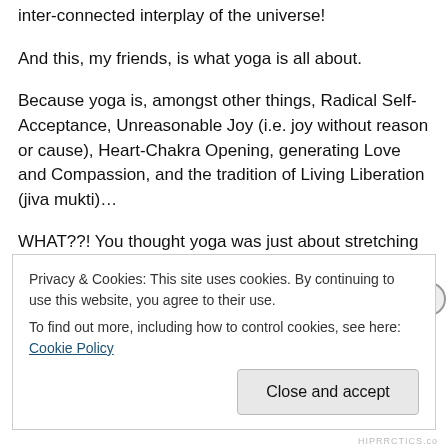inter-connected interplay of the universe!
And this, my friends, is what yoga is all about.
Because yoga is, amongst other things, Radical Self-Acceptance, Unreasonable Joy (i.e. joy without reason or cause), Heart-Chakra Opening, generating Love and Compassion, and the tradition of Living Liberation (jiva mukti)…
WHAT??! You thought yoga was just about stretching or frying your fat or getting a toned butt? Erm, sorry. That's.
Privacy & Cookies: This site uses cookies. By continuing to use this website, you agree to their use.
To find out more, including how to control cookies, see here: Cookie Policy
Close and accept